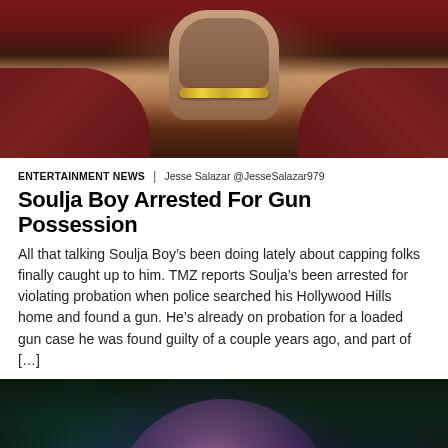[Figure (photo): Close-up photo of a person's tattooed neck and upper back, wearing a gold chain and dark red/maroon velvet clothing]
ENTERTAINMENT NEWS | Jesse Salazar @JesseSalazar979
Soulja Boy Arrested For Gun Possession
All that talking Soulja Boy’s been doing lately about capping folks finally caught up to him. TMZ reports Soulja’s been arrested for violating probation when police searched his Hollywood Hills home and found a gun. He’s already on probation for a loaded gun case he was found guilty of a couple years ago, and part of […]
[Figure (photo): Photo of a performer on stage holding a microphone, illuminated by blue and purple stage lighting, with face tattoos visible]
• • •